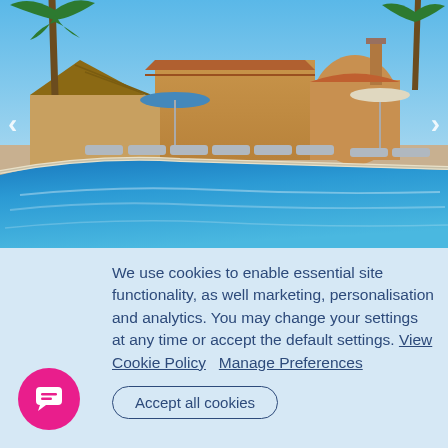[Figure (photo): Outdoor pool area of a Spanish villa with sun loungers, parasols, and terracotta-roofed buildings surrounded by palm trees under a blue sky. Navigation arrows on left and right.]
We use cookies to enable essential site functionality, as well marketing, personalisation and analytics. You may change your settings at any time or accept the default settings. View Cookie Policy   Manage Preferences
Accept all cookies